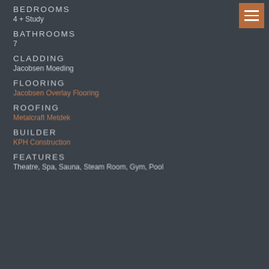BEDROOMS
4 + Study
BATHROOMS
7
CLADDING
Jacobsen Moeding
FLOORING
Jacobsen Overlay Flooring
ROOFING
Metalcraft Metdek
BUILDER
KPH Construction
FEATURES
Theatre, Spa, Sauna, Steam Room, Gym, Pool